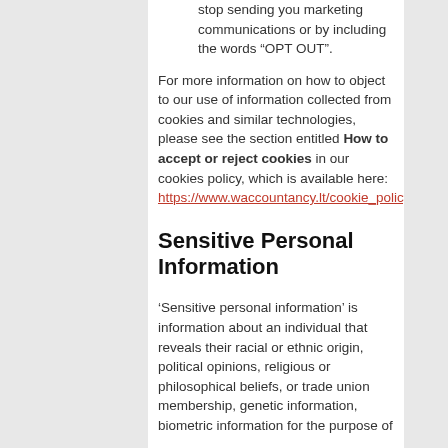stop sending you marketing communications or by including the words “OPT OUT”.
For more information on how to object to our use of information collected from cookies and similar technologies, please see the section entitled How to accept or reject cookies in our cookies policy, which is available here: https://www.waccountancy.lt/cookie_policy.html
Sensitive Personal Information
‘Sensitive personal information’ is information about an individual that reveals their racial or ethnic origin, political opinions, religious or philosophical beliefs, or trade union membership, genetic information, biometric information for the purpose of